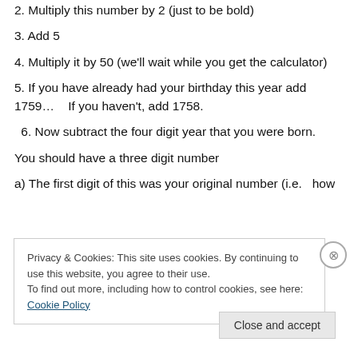2. Multiply this number by 2 (just to be bold)
3. Add 5
4. Multiply it by 50 (we’ll wait while you get the calculator)
5. If you have already had your birthday this year add 1759…    If you haven’t, add 1758.
6. Now subtract the four digit year that you were born.
You should have a three digit number
a) The first digit of this was your original number (i.e.   how
Privacy & Cookies: This site uses cookies. By continuing to use this website, you agree to their use.
To find out more, including how to control cookies, see here: Cookie Policy